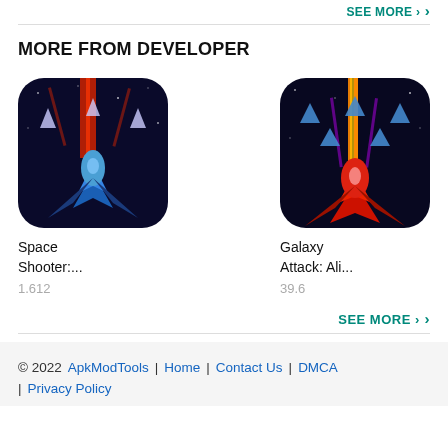SEE MORE >
MORE FROM DEVELOPER
[Figure (screenshot): Space Shooter game icon – spaceship with blue wings and red laser beams on dark background]
Space Shooter:...
1.612
[Figure (screenshot): Galaxy Attack: Alien game icon – red spaceship with purple and orange beams, alien enemies above on dark background]
Galaxy Attack: Ali...
39.6
SEE MORE >
© 2022  ApkModTools | Home | Contact Us | DMCA | Privacy Policy